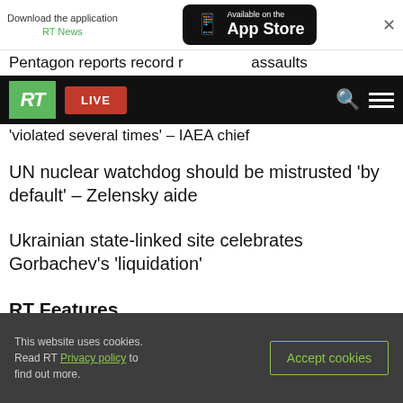[Figure (screenshot): App Store download banner with RT News branding and Available on the App Store button]
Pentagon reports record [...]assaults
[Figure (screenshot): RT navigation bar with green RT logo, red LIVE button, search icon, and hamburger menu]
'violated several times' – IAEA chief
UN nuclear watchdog should be mistrusted 'by default' – Zelensky aide
Ukrainian state-linked site celebrates Gorbachev's 'liquidation'
RT Features
This website uses cookies. Read RT Privacy policy to find out more.